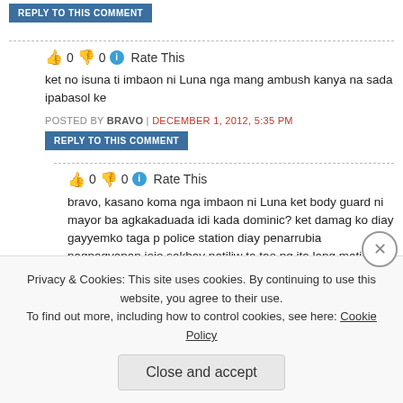REPLY TO THIS COMMENT
👍 0 👎 0 ℹ Rate This
ket no isuna ti imbaon ni Luna nga mang ambush kanya na sada ipabasol ke
POSTED BY BRAVO | DECEMBER 1, 2012, 5:35 PM
REPLY TO THIS COMMENT
👍 0 👎 0 ℹ Rate This
bravo, kasano koma nga imbaon ni Luna ket body guard ni mayor ba agkakaduada idi kada dominic? ket damag ko diay gayyemko taga p police station diay penarrubia nagnagyanan jojo sakbay natiliw ta tao ng ita lang matiliw wanted gayam ket buybuyaen kano pulis penarrubia ni j
POSTED BY BILES ABBA | DECEMBER 2, 2012, 8:18 PM
Privacy & Cookies: This site uses cookies. By continuing to use this website, you agree to their use.
To find out more, including how to control cookies, see here: Cookie Policy
Close and accept